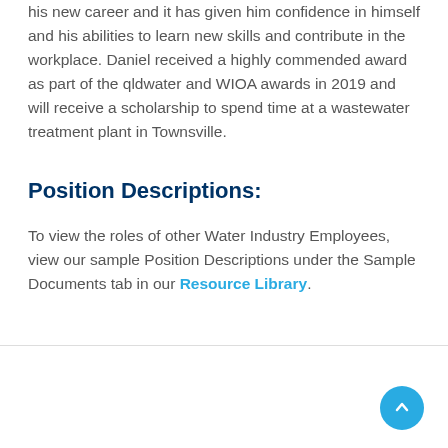his new career and it has given him confidence in himself and his abilities to learn new skills and contribute in the workplace. Daniel received a highly commended award as part of the qldwater and WIOA awards in 2019 and will receive a scholarship to spend time at a wastewater treatment plant in Townsville.
Position Descriptions:
To view the roles of other Water Industry Employees, view our sample Position Descriptions under the Sample Documents tab in our Resource Library.